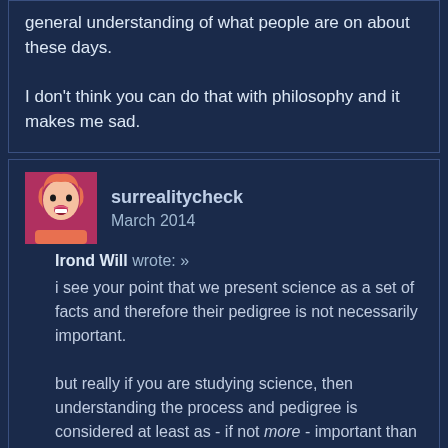general understanding of what people are on about these days.

I don't think you can do that with philosophy and it makes me sad.
surrealitycheck
March 2014

Irond Will wrote: »

i see your point that we present science as a set of facts and therefore their pedigree is not necessarily important.

but really if you are studying science, then understanding the process and pedigree is considered at least as - if not more - important than the scientific facts, since they are ultimately trying to train you to think like a scientist, and not just training you to solve certain types of problems.